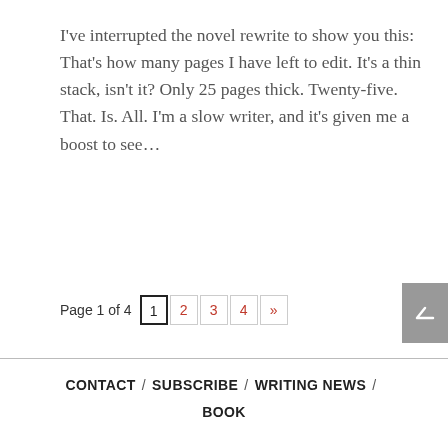I've interrupted the novel rewrite to show you this: That's how many pages I have left to edit. It's a thin stack, isn't it? Only 25 pages thick. Twenty-five. That. Is. All. I'm a slow writer, and it's given me a boost to see...
Page 1 of 4   1  2  3  4  »
CONTACT / SUBSCRIBE / WRITING NEWS / BOOK